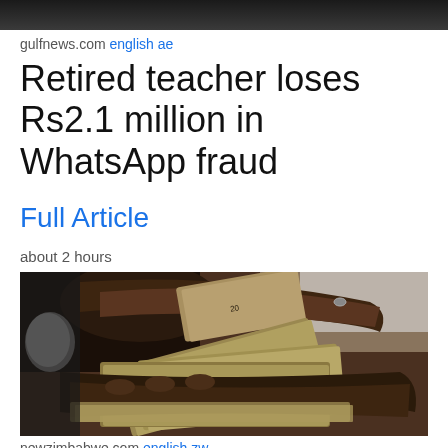[Figure (photo): Dark background image at top of page, partially visible]
gulfnews.com english ae
Retired teacher loses Rs2.1 million in WhatsApp fraud
Full Article
about 2 hours
[Figure (photo): Hands holding and counting a stack of US dollar banknotes]
newzimbabwe.com english zw
Man loses US$3 000 in botched